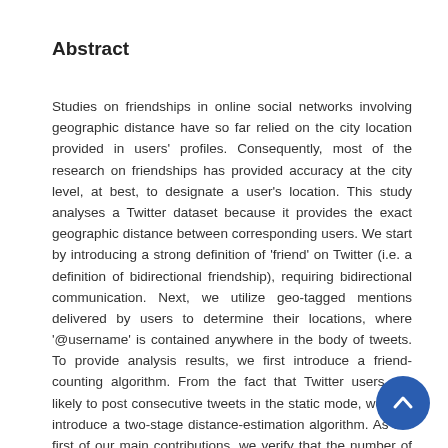Abstract
Studies on friendships in online social networks involving geographic distance have so far relied on the city location provided in users' profiles. Consequently, most of the research on friendships has provided accuracy at the city level, at best, to designate a user's location. This study analyses a Twitter dataset because it provides the exact geographic distance between corresponding users. We start by introducing a strong definition of 'friend' on Twitter (i.e. a definition of bidirectional friendship), requiring bidirectional communication. Next, we utilize geo-tagged mentions delivered by users to determine their locations, where '@username' is contained anywhere in the body of tweets. To provide analysis results, we first introduce a friend-counting algorithm. From the fact that Twitter users are likely to post consecutive tweets in the static mode, we also introduce a two-stage distance-estimation algorithm. As the first of our main contributions, we verify that the number of friends of a particular Twitter user follows a well-known power-law distribution (i.e. a Zipf's distribution or a Pareto distribution). Our study also provides the following newly discovered